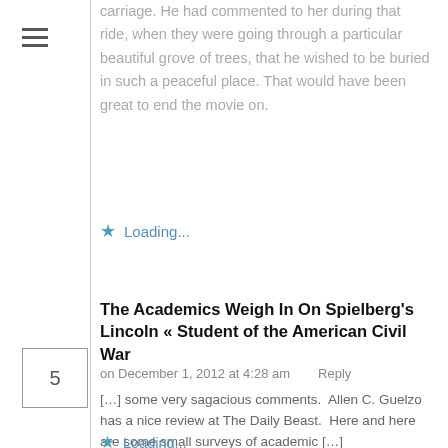carriage. He had commented to her during that ride, when they were going through a particular beautiful grove of trees, that he wished to be buried in such a peaceful place. That would have been great to end the movie on.
Loading...
The Academics Weigh In On Spielberg's Lincoln « Student of the American Civil War
on December 1, 2012 at 4:28 am    Reply
[…] some very sagacious comments.  Allen C. Guelzo has a nice review at The Daily Beast.  Here and here are some small surveys of academic […]
Loading...